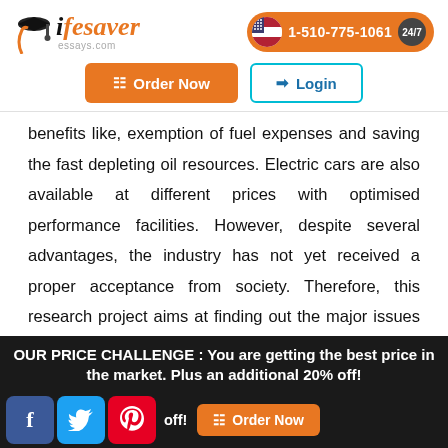[Figure (logo): Lifesaver Essays logo with graduation cap icon, orange and black text, essays.com subtitle]
[Figure (infographic): Orange pill-shaped button with US flag circle, phone number 1-510-775-1061, and 24/7 badge]
[Figure (infographic): Orange Order Now button and cyan-bordered Login button in navigation row]
benefits like, exemption of fuel expenses and saving the fast depleting oil resources. Electric cars are also available at different prices with optimised performance facilities. However, despite several advantages, the industry has not yet received a proper acceptance from society. Therefore, this research project aims at finding out the major issues that hoi in...
OUR PRICE CHALLENGE : You are getting the best price in the market. Plus an additional 20% off!
[Figure (infographic): Bottom bar with Facebook, Twitter, Pinterest social icons and Order Now button]